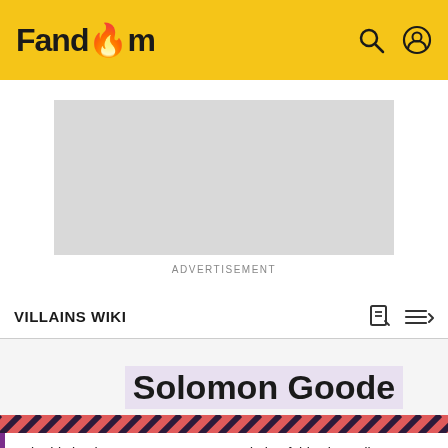Fandom
[Figure (other): Advertisement placeholder (grey rectangle)]
ADVERTISEMENT
VILLAINS WIKI
Solomon Goode
Hi. This is Thesecret1070. I am an admin of this site. Edit as much as you wish, but one little thing... If you are going to edit a lot, then make yourself a user and login. Other than that, enjoy Villains Wiki!!!